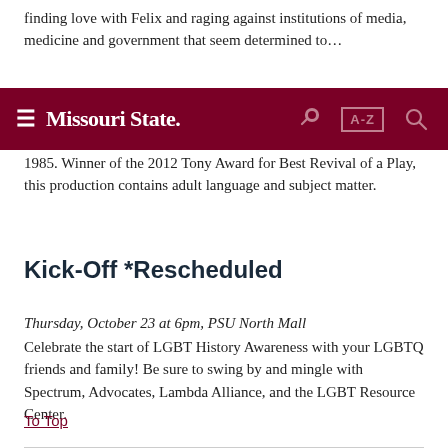finding love with Felix and raging against institutions of media, medicine and government that seem determined to… (clipped)
Missouri State — navigation bar with hamburger menu, key icon, A-Z index, and search icon
1985. Winner of the 2012 Tony Award for Best Revival of a Play, this production contains adult language and subject matter.
Kick-Off *Rescheduled
Thursday, October 23 at 6pm, PSU North Mall
Celebrate the start of LGBT History Awareness with your LGBTQ friends and family! Be sure to swing by and mingle with Spectrum, Advocates, Lambda Alliance, and the LGBT Resource Center.
To Top